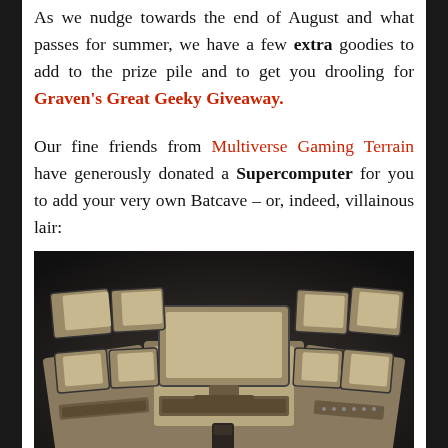As we nudge towards the end of August and what passes for summer, we have a few extra goodies to add to the prize pile and to get you drooling for Graven's Great Geeky Giveaway.
Our fine friends from Multiverse Gaming Terrain have generously donated a Supercomputer for you to add your very own Batcave – or, indeed, villainous lair:
[Figure (photo): A laser-cut MDF miniature supercomputer terrain piece showing multiple monitor screens arranged in a curved desk configuration, photographed against a dark background.]